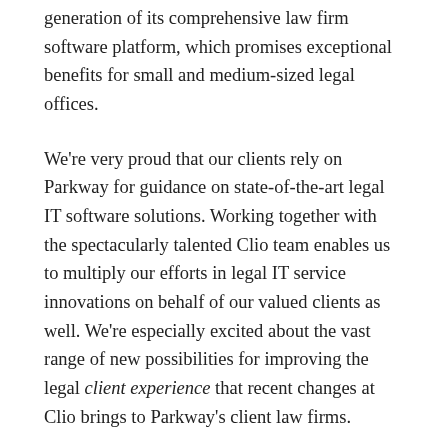generation of its comprehensive law firm software platform, which promises exceptional benefits for small and medium-sized legal offices.
We're very proud that our clients rely on Parkway for guidance on state-of-the-art legal IT software solutions. Working together with the spectacularly talented Clio team enables us to multiply our efforts in legal IT service innovations on behalf of our valued clients as well. We're especially excited about the vast range of new possibilities for improving the legal client experience that recent changes at Clio brings to Parkway's client law firms.
Clio Acquires Lexicata